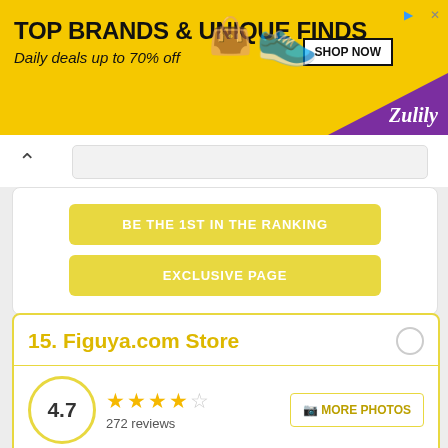[Figure (infographic): Zulily advertisement banner: yellow background with shoes and handbag images, text 'TOP BRANDS & UNIQUE FINDS', 'Daily deals up to 70% off', 'SHOP NOW' button, purple triangle with Zulily logo]
BE THE 1ST IN THE RANKING
EXCLUSIVE PAGE
15. Figuya.com Store
4.7
272 reviews
MORE PHOTOS
Location
4.5
Prices
4.2
Product Quality